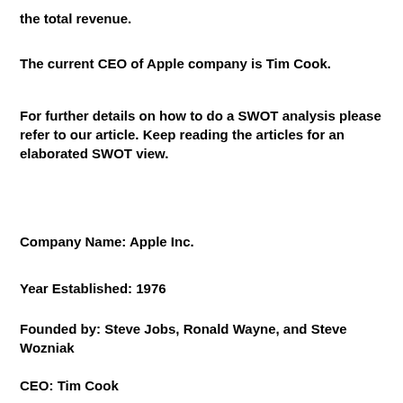the total revenue.
The current CEO of Apple company is Tim Cook.
For further details on how to do a SWOT analysis please refer to our article. Keep reading the articles for an elaborated SWOT view.
Company Name: Apple Inc.
Year Established: 1976
Founded by: Steve Jobs, Ronald Wayne, and Steve Wozniak
CEO: Tim Cook
Head office: Cupertino, California, USA